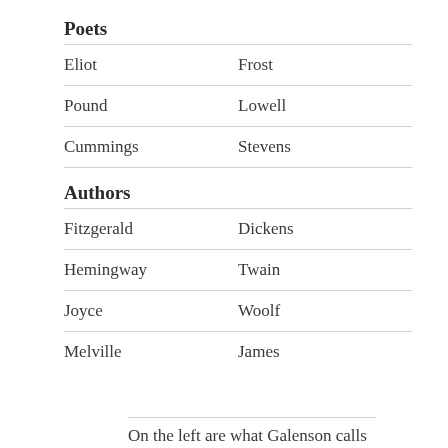Poets
| Col1 | Col2 |
| --- | --- |
| Eliot | Frost |
| Pound | Lowell |
| Cummings | Stevens |
Authors
| Col1 | Col2 |
| --- | --- |
| Fitzgerald | Dickens |
| Hemingway | Twain |
| Joyce | Woolf |
| Melville | James |
On the left are what Galenson calls